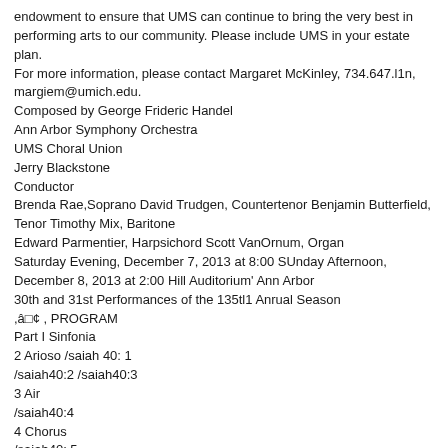endowment to ensure that UMS can continue to bring the very best in performing arts to our community. Please include UMS in your estate plan.
For more information, please contact Margaret McKinley, 734.647.l1n, margiem@umich.edu.
Composed by George Frideric Handel
Ann Arbor Symphony Orchestra
UMS Choral Union
Jerry Blackstone
Conductor
Brenda Rae,Soprano David Trudgen, Countertenor Benjamin Butterfield, Tenor Timothy Mix, Baritone
Edward Parmentier, Harpsichord Scott VanOrnum, Organ
Saturday Evening, December 7, 2013 at 8:00 SUnday Afternoon, December 8, 2013 at 2:00 Hill Auditorium' Ann Arbor
30th and 31st Performances of the 135tl1 Anrual Season
,â□¢ , PROGRAM
Part I Sinfonia
2 Arioso /saiah 40: 1
/saiah40:2 /saiah40:3
3 Air
/saiah40:4
4 Chorus
/saiah40: 5